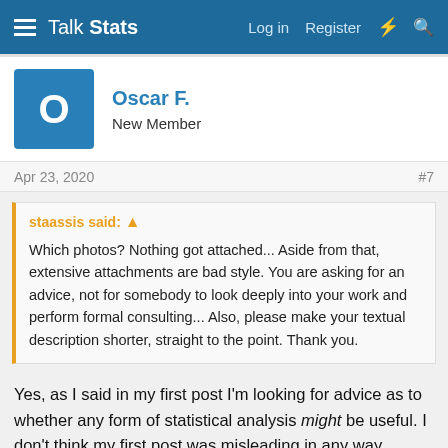Talk Stats — Log in  Register
Oscar F.
New Member
Apr 23, 2020	#7
staassis said: ↑
Which photos? Nothing got attached... Aside from that, extensive attachments are bad style. You are asking for an advice, not for somebody to look deeply into your work and perform formal consulting... Also, please make your textual description shorter, straight to the point. Thank you.
Yes, as I said in my first post I'm looking for advice as to whether any form of statistical analysis might be useful. I don't think my first post was misleading in any way.
The photographs are not attached, nor can they be as many of them are privately owned and I only have permission to use them under specific circumstances, which is why I tried to